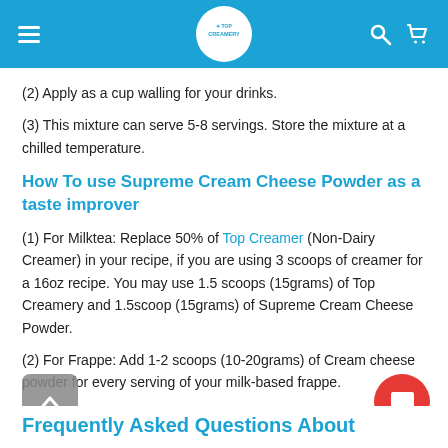TOP CREAMERY
(2) Apply as a cup walling for your drinks.
(3) This mixture can serve 5-8 servings. Store the mixture at a chilled temperature.
How To use Supreme Cream Cheese Powder as a taste improver
(1) For Milktea: Replace 50% of Top Creamer (Non-Dairy Creamer) in your recipe, if you are using 3 scoops of creamer for a 16oz recipe. You may use 1.5 scoops (15grams) of Top Creamery and 1.5scoop (15grams) of Supreme Cream Cheese Powder.
(2) For Frappe: Add 1-2 scoops (10-20grams) of Cream cheese powder for every serving of your milk-based frappe.
Frequently Asked Questions About